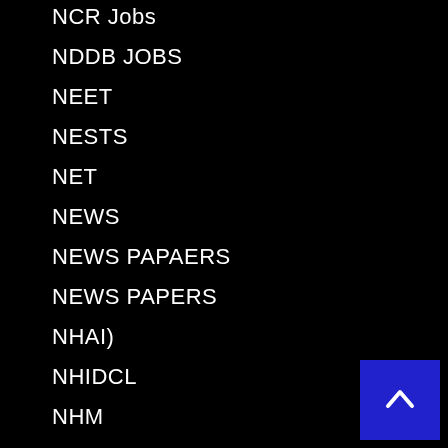NCR Jobs
NDDB JOBS
NEET
NESTS
NET
NEWS
NEWS PAPAERS
NEWS PAPERS
NHAI)
NHIDCL
NHM
NIC
NID
NIFT
NIPER